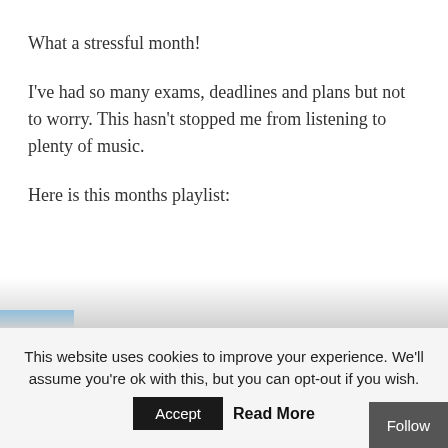What a stressful month!
I've had so many exams, deadlines and plans but not to worry. This hasn't stopped me from listening to plenty of music.
Here is this months playlist:
[Figure (logo): Twitter bird logo icon on a blue square background]
This website uses cookies to improve your experience. We'll assume you're ok with this, but you can opt-out if you wish.
Accept   Read More   Follow